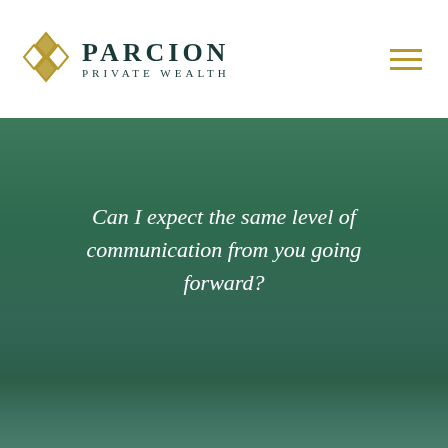[Figure (logo): Parcion Private Wealth logo with diamond geometric icon and text]
Can I expect the same level of communication from you going forward?